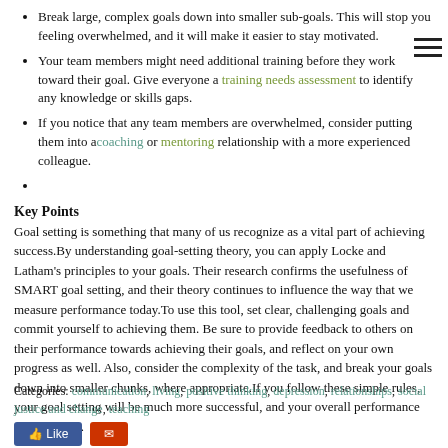Break large, complex goals down into smaller sub-goals. This will stop you feeling overwhelmed, and it will make it easier to stay motivated.
Your team members might need additional training before they work toward their goal. Give everyone a training needs assessment to identify any knowledge or skills gaps.
If you notice that any team members are overwhelmed, consider putting them into a coaching or mentoring relationship with a more experienced colleague.
Key Points
Goal setting is something that many of us recognize as a vital part of achieving success.By understanding goal-setting theory, you can apply Locke and Latham's principles to your goals. Their research confirms the usefulness of SMART goal setting, and their theory continues to influence the way that we measure performance today.To use this tool, set clear, challenging goals and commit yourself to achieving them. Be sure to provide feedback to others on their performance towards achieving their goals, and reflect on your own progress as well. Also, consider the complexity of the task, and break your goals down into smaller chunks, where appropriate.If you follow these simple rules, your goal setting will be much more successful, and your overall performance will improve.
Categories: communication, living, positive thinking, depression, relationships, social justice and change, teaching